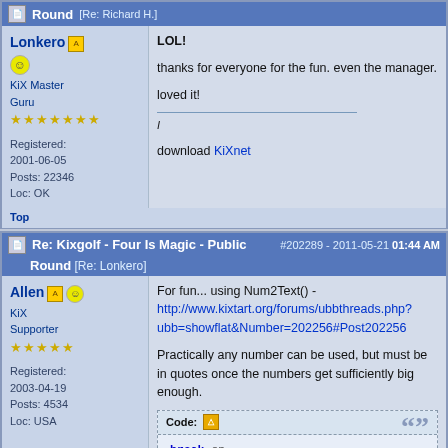Round [Re: Richard H.]
LOL!
thanks for everyone for the fun. even the manager.
loved it!
/
download KiXnet
Lonkero | KiX Master Guru | Registered: 2001-06-05 | Posts: 22346 | Loc: OK
Top
Re: Kixgolf - Four Is Magic - Public Round [Re: Lonkero] #202289 - 2011-05-21 01:44 AM
Allen | KiX Supporter | Registered: 2003-04-19 | Posts: 4534 | Loc: USA
For fun... using Num2Text() - http://www.kixtart.org/forums/ubbthreads.php?ubb=showflat&Number=202256#Post202256
Practically any number can be used, but must be in quotes once the numbers get sufficiently big enough.
Code:
break on
$RC=setoption("WrapATEOL","ON")
$RC=setoption("Explicit","ON")

dim $i,$len